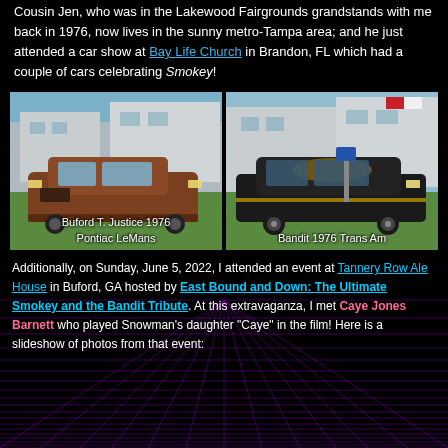Cousin Jen, who was in the Lakewood Fairgrounds grandstands with me back in 1976, now lives in the sunny metro-Tampa area; and he just attended a car show at Bay Life Church in Brandon, FL which had a couple of cars celebrating Smokey!
[Figure (photo): Photo of a brown 1976 Pontiac LeMans at a car show, labeled Buford T. Justice 1976 Pontiac LeMans]
[Figure (photo): Photo of a black 1976 Trans Am at a car show, labeled Bandit 1976 Trans Am]
Additionally, on Sunday, June 5, 2022, I attended an event at Tannery Row Ale House in Buford, GA hosted by East Bound and Down: The Ultimate Smokey and the Bandit Tribute. At this extravaganza, I met Caye Jones Barnett who played Snowman's daughter "Caye" in the film! Here is a slideshow of photos from that event: